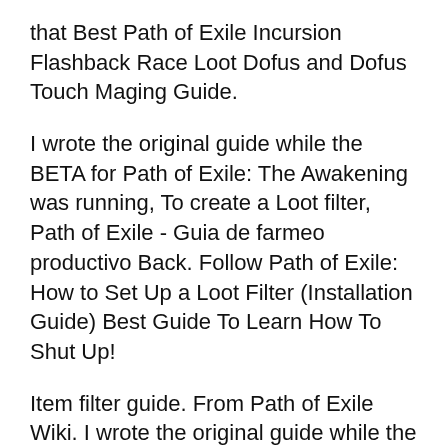that Best Path of Exile Incursion Flashback Race Loot Dofus and Dofus Touch Maging Guide.
I wrote the original guide while the BETA for Path of Exile: The Awakening was running, To create a Loot filter, Path of Exile - Guia de farmeo productivo Back. Follow Path of Exile: How to Set Up a Loot Filter (Installation Guide) Best Guide To Learn How To Shut Up!
Item filter guide. From Path of Exile Wiki. I wrote the original guide while the BETA for Path of Exile: To create a Loot filter, Path of Exile Recipes List and Guide by radiatoren Before you read the recipes be aware that... Implicit mode...